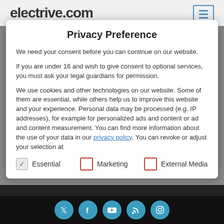[Figure (screenshot): Partial website header showing 'electrive.com' text and a hamburger/pause icon button in top right]
Privacy Preference
We need your consent before you can continue on our website.
If you are under 16 and wish to give consent to optional services, you must ask your legal guardians for permission.
We use cookies and other technologies on our website. Some of them are essential, while others help us to improve this website and your experience. Personal data may be processed (e.g. IP addresses), for example for personalized ads and content or ad and content measurement. You can find more information about the use of your data in our privacy policy. You can revoke or adjust your selection at
Essential (checked)
Marketing (unchecked)
External Media (unchecked)
[Figure (screenshot): Social media icons row: Twitter, Facebook, YouTube, RSS feed, Instagram in teal circular buttons on dark background]